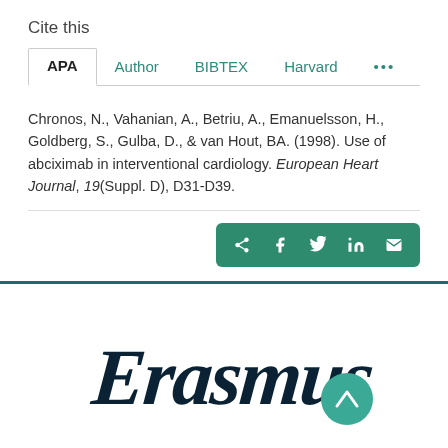Cite this
APA | Author | BIBTEX | Harvard | ...
Chronos, N., Vahanian, A., Betriu, A., Emanuelsson, H., Goldberg, S., Gulba, D., & van Hout, BA. (1998). Use of abciximab in interventional cardiology. European Heart Journal, 19(Suppl. D), D31-D39.
[Figure (logo): Erasmus University Rotterdam logo (cursive script)]